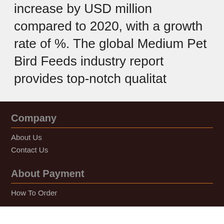increase by USD million compared to 2020, with a growth rate of %. The global Medium Pet Bird Feeds industry report provides top-notch qualitat
Company
About Us
Contact Us
About Payment
How To Order